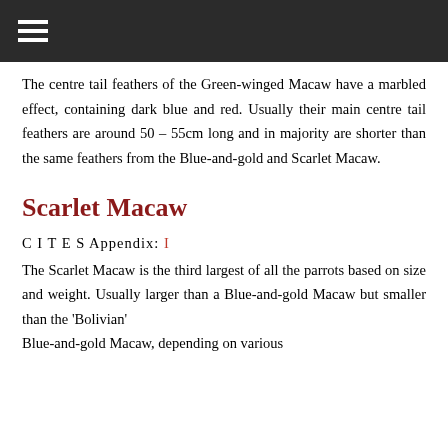≡
The centre tail feathers of the Green-winged Macaw have a marbled effect, containing dark blue and red. Usually their main centre tail feathers are around 50 – 55cm long and in majority are shorter than the same feathers from the Blue-and-gold and Scarlet Macaw.
Scarlet Macaw
C I T E S Appendix: I
The Scarlet Macaw is the third largest of all the parrots based on size and weight. Usually larger than a Blue-and-gold Macaw but smaller than the 'Bolivian' Blue-and-gold Macaw, depending on...